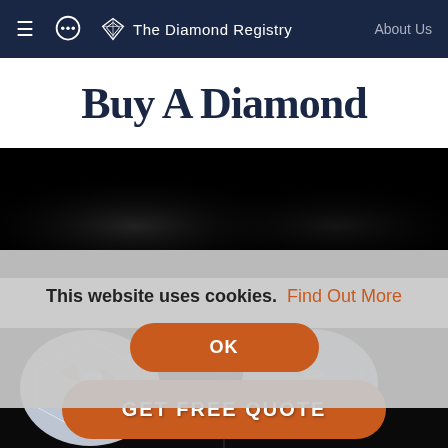The Diamond Registry — About Us
Buy A Diamond
[Figure (photo): Close-up photograph of two brilliant-cut diamonds against a black background]
This website uses cookies. Find Out More
OK
GET FREE QUOTE